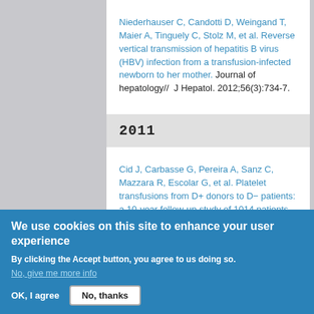Niederhauser C, Candotti D, Weingand T, Maier A, Tinguely C, Stolz M, et al. Reverse vertical transmission of hepatitis B virus (HBV) infection from a transfusion-infected newborn to her mother. Journal of hepatology// J Hepatol. 2012;56(3):734-7.
2011
Cid J, Carbasse G, Pereira A, Sanz C, Mazzara R, Escolar G, et al. Platelet transfusions from D+ donors to D- patients: a 10-year follow-up study of 1014 patients. Transfusion.
We use cookies on this site to enhance your user experience
By clicking the Accept button, you agree to us doing so.
No, give me more info
OK, I agree   No, thanks